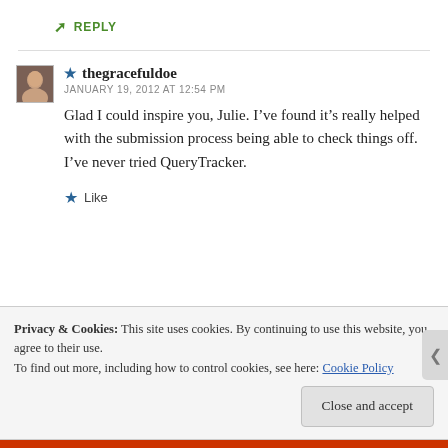↳ REPLY
★ thegracefuldoe
JANUARY 19, 2012 AT 12:54 PM
Glad I could inspire you, Julie. I've found it's really helped with the submission process being able to check things off. I've never tried QueryTracker.
★ Like
Privacy & Cookies: This site uses cookies. By continuing to use this website, you agree to their use.
To find out more, including how to control cookies, see here: Cookie Policy
Close and accept